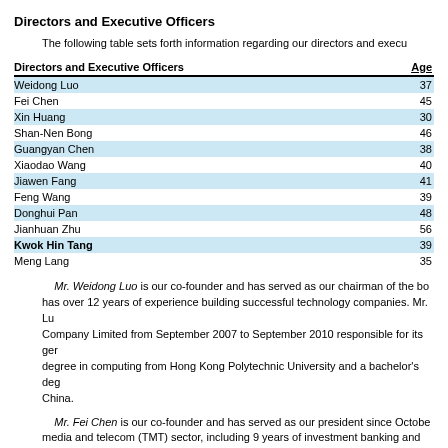Directors and Executive Officers
The following table sets forth information regarding our directors and executive officers.
| Directors and Executive Officers | Age |
| --- | --- |
| Weidong Luo | 37 |
| Fei Chen | 45 |
| Xin Huang | 30 |
| Shan-Nen Bong | 46 |
| Guangyan Chen | 38 |
| Xiaodao Wang | 40 |
| Jiawen Fang | 41 |
| Feng Wang | 39 |
| Donghui Pan | 48 |
| Jianhuan Zhu | 56 |
| Kwok Hin Tang | 39 |
| Meng Lang | 35 |
Mr. Weidong Luo is our co-founder and has served as our chairman of the board and chief executive officer since our inception in January 2014. He has over 12 years of experience building successful technology companies. Mr. Luo served as a general manager of Network Service of Renren Company Limited from September 2007 to September 2010 responsible for its general operations. Mr. Luo received a master's degree in computing from Hong Kong Polytechnic University and a bachelor's degree in information and computing science from Sun Yat-Sen University in China.
Mr. Fei Chen is our co-founder and has served as our president since October 2014. He has over 20 years of experience in the technology, media and telecom (TMT) sector, including 9 years of investment banking and research experience in the global capital market focusing on Chinese TMT and 9 years of corporate and startup experience in the high tech industry. From October 2011 to December 2013.